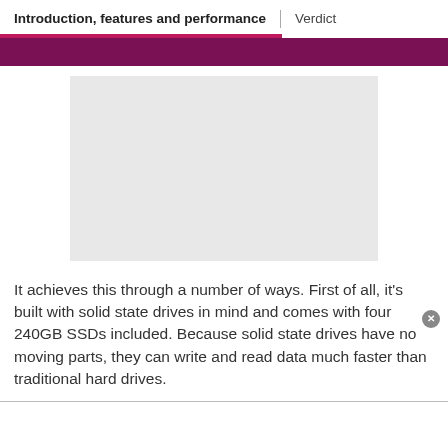Introduction, features and performance | Verdict
[Figure (other): Light gray rectangular image placeholder area]
It achieves this through a number of ways. First of all, it's built with solid state drives in mind and comes with four 240GB SSDs included. Because solid state drives have no moving parts, they can write and read data much faster than traditional hard drives.